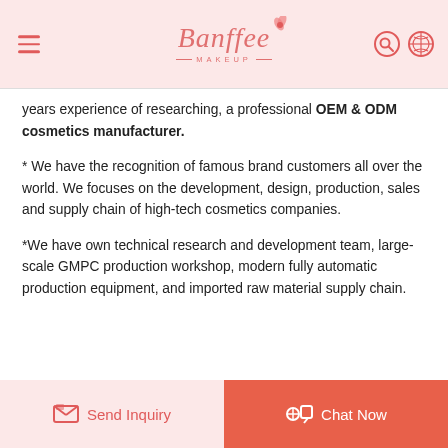Banffee MAKEUP
years experience of researching, a professional OEM & ODM cosmetics manufacturer.
* We have the recognition of famous brand customers all over the world. We focuses on the development, design, production, sales and supply chain of high-tech cosmetics companies.
*We have own technical research and development team, large-scale GMPC production workshop, modern fully automatic production equipment, and imported raw material supply chain.
Send Inquiry  Chat Now